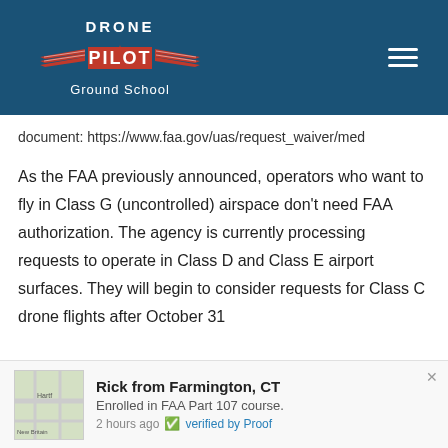[Figure (logo): Drone Pilot Ground School logo on dark blue header background with hamburger menu icon]
document: https://www.faa.gov/uas/request_waiver/med
As the FAA previously announced, operators who want to fly in Class G (uncontrolled) airspace don't need FAA authorization. The agency is currently processing requests to operate in Class D and Class E airport surfaces. They will begin to consider requests for Class C drone flights after October 31
Rick from Farmington, CT
Enrolled in FAA Part 107 course.
2 hours ago  verified by Proof